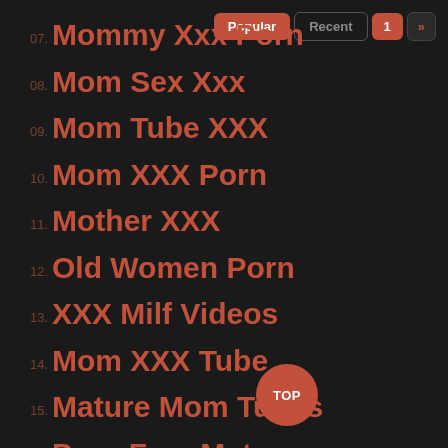07. Mommy Xxx Porn
08. Mom Sex Xxx
09. Mom Tube XXX
10. Mom XXX Porn
11. Mother XXX
12. Old Women Porn
13. XXX Milf Videos
14. Mom XXX Tube
15. Mature Mom Tubes
16. Porn Free Mature